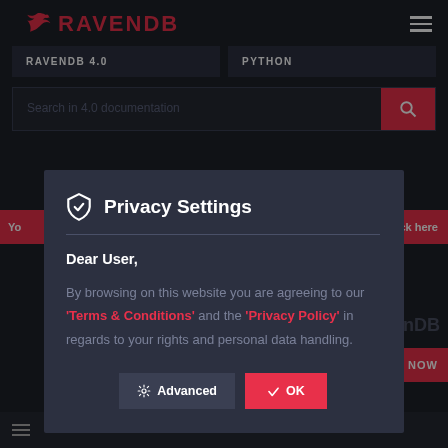[Figure (screenshot): RavenDB website screenshot showing navigation bar with RavenDB logo, RAVENDB 4.0 and PYTHON tab buttons, search bar, and a Privacy Settings modal dialog overlay]
Privacy Settings
Dear User,
By browsing on this website you are agreeing to our 'Terms & Conditions' and the 'Privacy Policy' in regards to your rights and personal data handling.